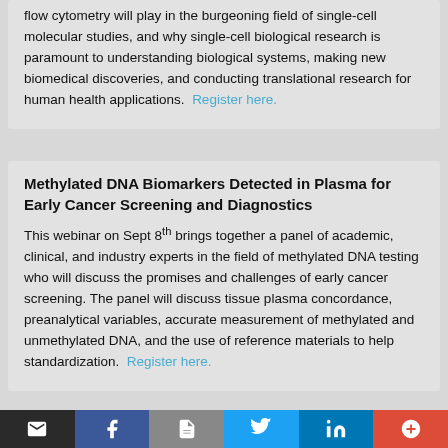flow cytometry will play in the burgeoning field of single-cell molecular studies, and why single-cell biological research is paramount to understanding biological systems, making new biomedical discoveries, and conducting translational research for human health applications. Register here.
Methylated DNA Biomarkers Detected in Plasma for Early Cancer Screening and Diagnostics
This webinar on Sept 8th brings together a panel of academic, clinical, and industry experts in the field of methylated DNA testing who will discuss the promises and challenges of early cancer screening. The panel will discuss tissue plasma concordance, preanalytical variables, accurate measurement of methylated and unmethylated DNA, and the use of reference materials to help standardization. Register here.